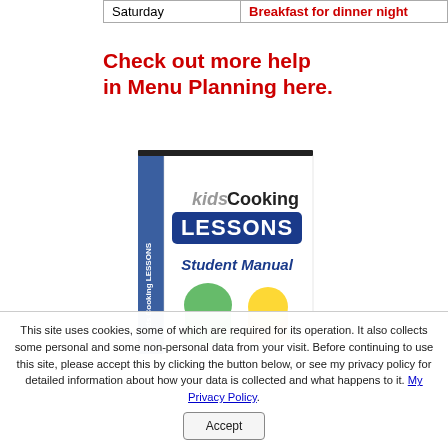|  |  |
| --- | --- |
| Saturday | Breakfast for dinner night |
Check out more help in Menu Planning here.
[Figure (illustration): Book cover: Kids Cooking LESSONS Student Manual, showing two cartoon chef figures wearing green and yellow chef hats]
This site uses cookies, some of which are required for its operation. It also collects some personal and some non-personal data from your visit. Before continuing to use this site, please accept this by clicking the button below, or see my privacy policy for detailed information about how your data is collected and what happens to it. My Privacy Policy. Accept